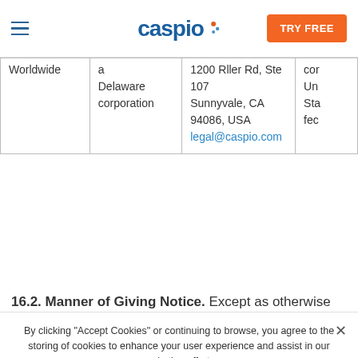Caspio — TRY FREE
|  |  |  |  |
| --- | --- | --- | --- |
| Worldwide | a Delaware corporation | 1200 Roller Rd, Ste 107
Sunnyvale, CA 94086, USA
legal@caspio.com | cor
Un
Sta
fec |
16.2. Manner of Giving Notice. Except as otherwise specified in this Agreement, all notices, permissions, and approvals hereunder will be written and will be deemed to have been given...
By clicking "Accept Cookies" or continuing to browse, you agree to the storing of cookies to enhance your user experience and assist in our marketing efforts.